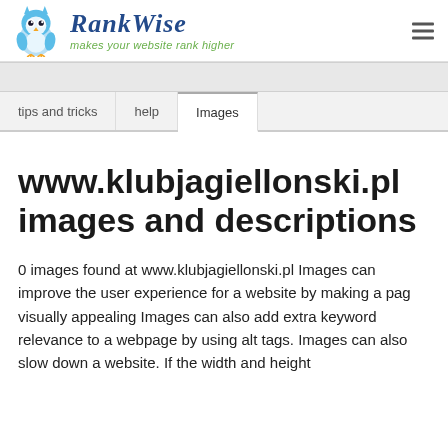[Figure (logo): RankWise logo with blue owl icon and italic serif brand name 'RankWise' in blue, with green tagline 'makes your website rank higher']
tips and tricks | help | Images
www.klubjagiellonski.pl images and descriptions
0 images found at www.klubjagiellonski.pl Images can improve the user experience for a website by making a pag visually appealing Images can also add extra keyword relevance to a webpage by using alt tags. Images can also slow down a website. If the width and height